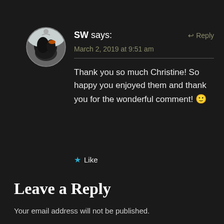[Figure (photo): Circular avatar photo of a black dog carrying something orange, outdoors in snow]
SW says:
↩ Reply
March 2, 2019 at 9:51 am
Thank you so much Christine! So happy you enjoyed them and thank you for the wonderful comment! 🙂
★ Like
Leave a Reply
Your email address will not be published.